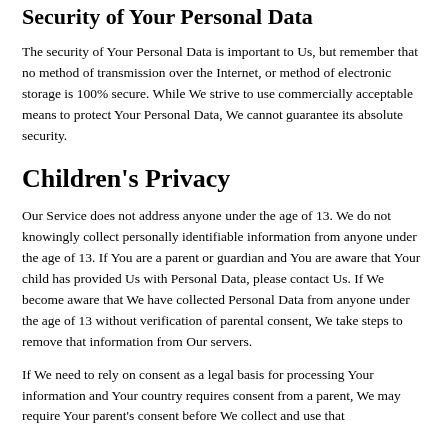Security of Your Personal Data
The security of Your Personal Data is important to Us, but remember that no method of transmission over the Internet, or method of electronic storage is 100% secure. While We strive to use commercially acceptable means to protect Your Personal Data, We cannot guarantee its absolute security.
Children's Privacy
Our Service does not address anyone under the age of 13. We do not knowingly collect personally identifiable information from anyone under the age of 13. If You are a parent or guardian and You are aware that Your child has provided Us with Personal Data, please contact Us. If We become aware that We have collected Personal Data from anyone under the age of 13 without verification of parental consent, We take steps to remove that information from Our servers.
If We need to rely on consent as a legal basis for processing Your information and Your country requires consent from a parent, We may require Your parent's consent before We collect and use that